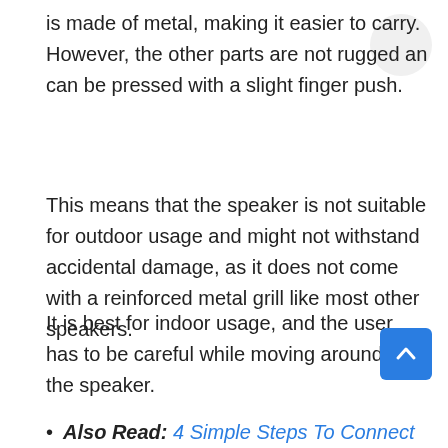is made of metal, making it easier to carry. However, the other parts are not rugged an can be pressed with a slight finger push.
This means that the speaker is not suitable for outdoor usage and might not withstand accidental damage, as it does not come with a reinforced metal grill like most other speakers.
It is best for indoor usage, and the user has to be careful while moving around with the speaker.
Also Read: 4 Simple Steps To Connect